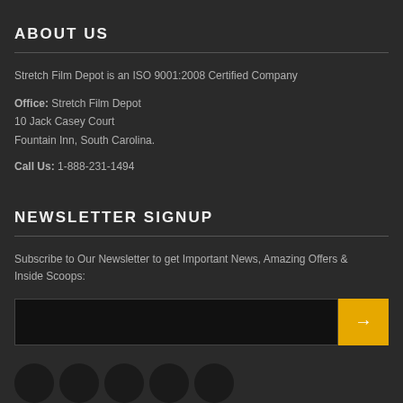ABOUT US
Stretch Film Depot is an ISO 9001:2008 Certified Company
Office: Stretch Film Depot
10 Jack Casey Court
Fountain Inn, South Carolina.
Call Us: 1-888-231-1494
NEWSLETTER SIGNUP
Subscribe to Our Newsletter to get Important News, Amazing Offers & Inside Scoops:
[Figure (other): Email input field with black background and a yellow submit button with right arrow]
[Figure (other): Row of five dark circular social media icon buttons at bottom of page]